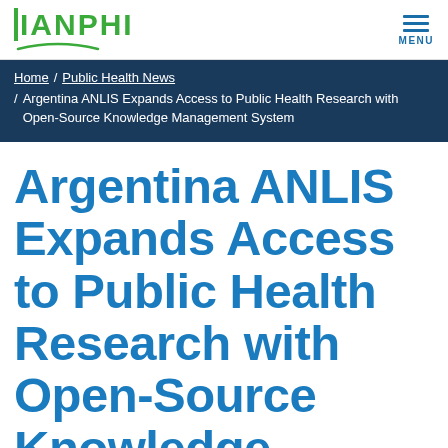IANPHI — MENU
Home / Public Health News / Argentina ANLIS Expands Access to Public Health Research with Open-Source Knowledge Management System
Argentina ANLIS Expands Access to Public Health Research with Open-Source Knowledge